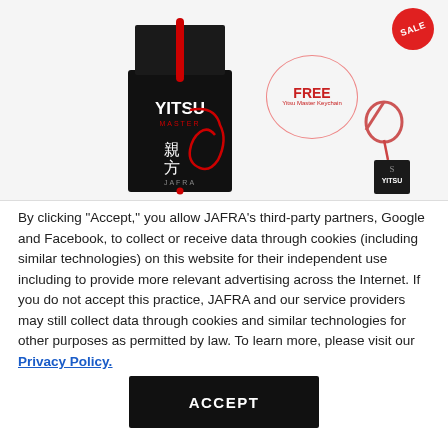[Figure (photo): JAFRA YITSU MASTER perfume bottle (black with red dragon design) alongside a free Yitsu Master Keychain offer circle and a SALE badge in the top-right corner.]
By clicking “Accept,” you allow JAFRA’s third-party partners, Google and Facebook, to collect or receive data through cookies (including similar technologies) on this website for their independent use including to provide more relevant advertising across the Internet. If you do not accept this practice, JAFRA and our service providers may still collect data through cookies and similar technologies for other purposes as permitted by law. To learn more, please visit our Privacy Policy.
ACCEPT